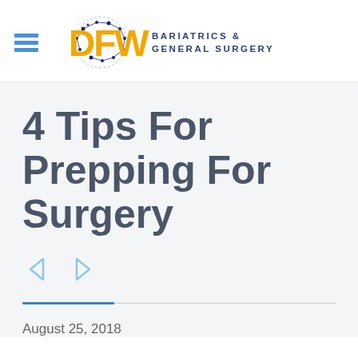[Figure (logo): DFW Bariatrics & General Surgery logo with hamburger menu icon]
4 Tips For Prepping For Surgery
[Figure (other): Previous and next navigation arrow icons (left triangle and right triangle)]
August 25, 2018